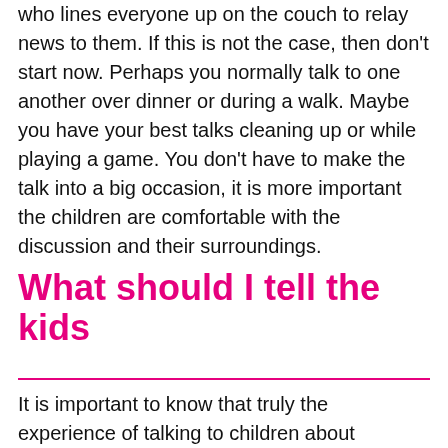who lines everyone up on the couch to relay news to them. If this is not the case, then don't start now. Perhaps you normally talk to one another over dinner or during a walk. Maybe you have your best talks cleaning up or while playing a game. You don't have to make the talk into a big occasion, it is more important the children are comfortable with the discussion and their surroundings.
What should I tell the kids
It is important to know that truly the experience of talking to children about